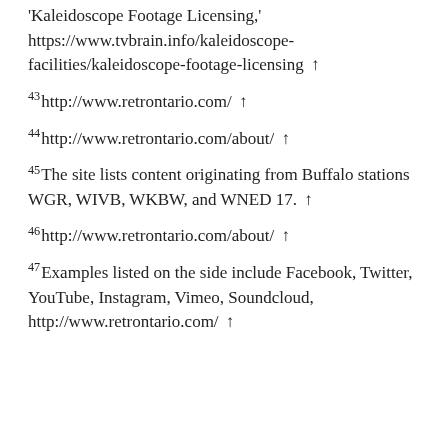'Kaleidoscope Footage Licensing,' https://www.tvbrain.info/kaleidoscope-facilities/kaleidoscope-footage-licensing ↑
43http://www.retrontario.com/ ↑
44http://www.retrontario.com/about/ ↑
45The site lists content originating from Buffalo stations WGR, WIVB, WKBW, and WNED 17. ↑
46http://www.retrontario.com/about/ ↑
47Examples listed on the side include Facebook, Twitter, YouTube, Instagram, Vimeo, Soundcloud, http://www.retrontario.com/ ↑